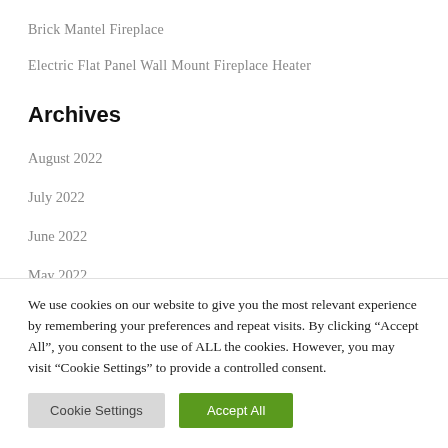Brick Mantel Fireplace
Electric Flat Panel Wall Mount Fireplace Heater
Archives
August 2022
July 2022
June 2022
May 2022
We use cookies on our website to give you the most relevant experience by remembering your preferences and repeat visits. By clicking “Accept All”, you consent to the use of ALL the cookies. However, you may visit “Cookie Settings” to provide a controlled consent.
Cookie Settings | Accept All